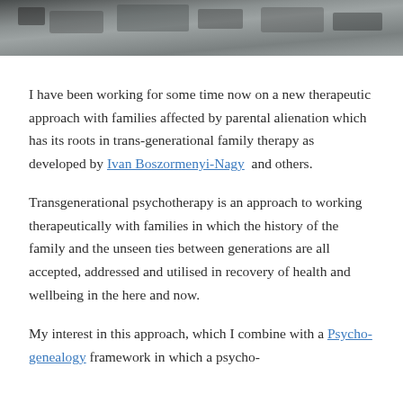[Figure (photo): Black and white photograph strip showing a natural outdoor scene, partially cropped at top of page.]
I have been working for some time now on a new therapeutic approach with families affected by parental alienation which has its roots in trans-generational family therapy as developed by Ivan Boszormenyi-Nagy and others.
Transgenerational psychotherapy is an approach to working therapeutically with families in which the history of the family and the unseen ties between generations are all accepted, addressed and utilised in recovery of health and wellbeing in the here and now.
My interest in this approach, which I combine with a Psycho-genealogy framework in which a psycho-